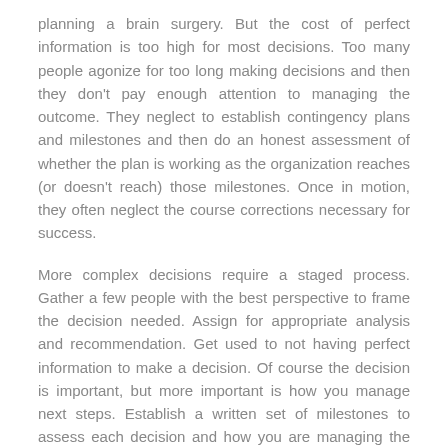planning a brain surgery. But the cost of perfect information is too high for most decisions. Too many people agonize for too long making decisions and then they don't pay enough attention to managing the outcome. They neglect to establish contingency plans and milestones and then do an honest assessment of whether the plan is working as the organization reaches (or doesn't reach) those milestones. Once in motion, they often neglect the course corrections necessary for success.
More complex decisions require a staged process. Gather a few people with the best perspective to frame the decision needed. Assign for appropriate analysis and recommendation. Get used to not having perfect information to make a decision. Of course the decision is important, but more important is how you manage next steps. Establish a written set of milestones to assess each decision and how you are managing the consequences of the decision over time.
Stay on the Cliff